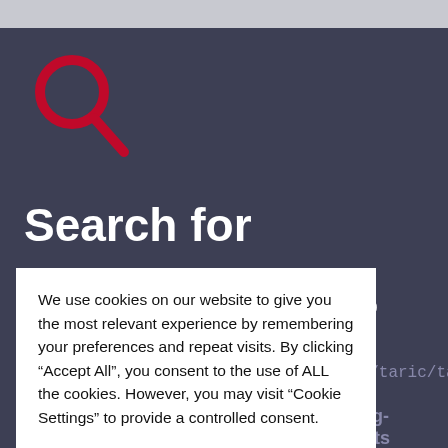[Figure (screenshot): Dark blue-grey website background with a red magnifying glass search icon and large white bold text reading 'Search for' with partial text 'es' visible, and a partial URL path 'ns/dds2/taric/ta' visible]
We use cookies on our website to give you the most relevant experience by remembering your preferences and repeat visits. By clicking "Accept All", you consent to the use of ALL the cookies. However, you may visit "Cookie Settings" to provide a controlled consent.
Cookie Settings
Accept All